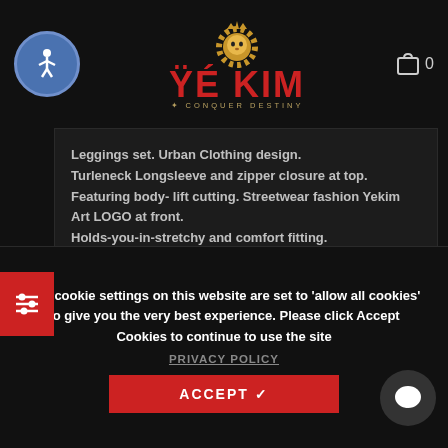[Figure (logo): Yekim brand logo with lion illustration and red YEKIM text, tagline CONQUER DESTINY]
Leggings set. Urban Clothing design.
Turleneck Longsleeve and zipper closure at top.
Featuring body- lift cutting. Streetwear fashion Yekim Art LOGO at front.
Holds-you-in-stretchy and comfort fitting.
Legging and Bodysuit Set
Material: 100% Polyester
HAVE QUESTIONS? ASK AN EXPERT
The cookie settings on this website are set to 'allow all cookies' to give you the very best experience. Please click Accept Cookies to continue to use the site
PRIVACY POLICY
ACCEPT ✓